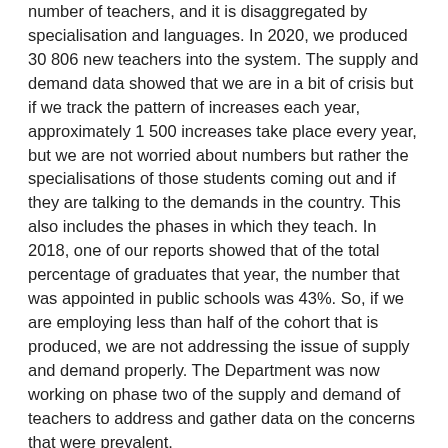number of teachers, and it is disaggregated by specialisation and languages. In 2020, we produced 30 806 new teachers into the system. The supply and demand data showed that we are in a bit of crisis but if we track the pattern of increases each year, approximately 1 500 increases take place every year, but we are not worried about numbers but rather the specialisations of those students coming out and if they are talking to the demands in the country. This also includes the phases in which they teach. In 2018, one of our reports showed that of the total percentage of graduates that year, the number that was appointed in public schools was 43%. So, if we are employing less than half of the cohort that is produced, we are not addressing the issue of supply and demand properly. The Department was now working on phase two of the supply and demand of teachers to address and gather data on the concerns that were prevalent.
The studies were based on five phases namely learner/teacher ratio, attrition of teachers in terms of retirement or being ill or dying, enrolments, subject choices and the languages of learning and teaching and how that would inform our supply of teachers. We hope this takes off the ground in phase two.